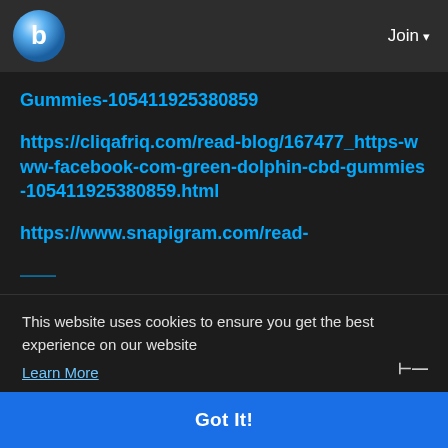b | Join
Gummies-105411925380859
https://cliqafriq.com/read-blog/167477_https-www-facebook-com-green-dolphin-cbd-gummies-105411925380859.html
https://www.snapigram.com/read-
This website uses cookies to ensure you get the best experience on our website
Learn More
Got It!
https://ballbook.com.br/blogs/38203/https-